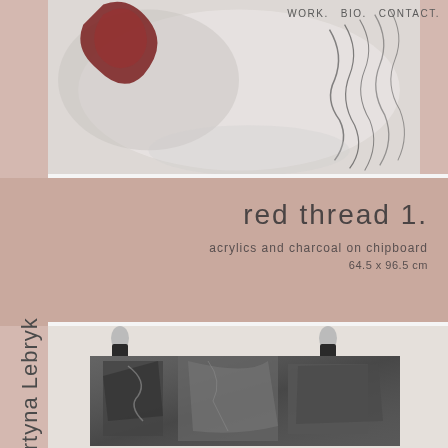WORK.   BIO.   CONTACT.
[Figure (photo): Abstract artwork with red/dark shape on white/grey background, charcoal marks on right side]
Martyna Lebryk
red thread 1.
acrylics and charcoal on chipboard
64.5 x 96.5 cm
[Figure (photo): Black and white artwork clipped to surface, showing abstract urban or figurative composition in charcoal/graphite]